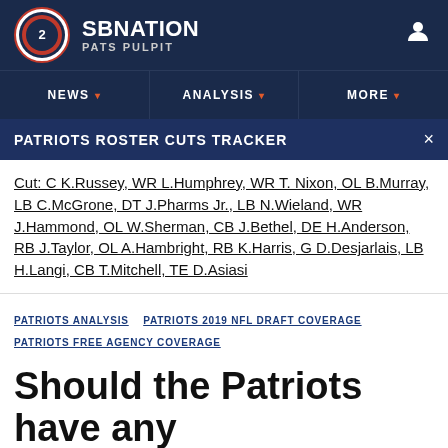SBNATION PATS PULPIT
NEWS   ANALYSIS   MORE
PATRIOTS ROSTER CUTS TRACKER
Cut: C K.Russey, WR L.Humphrey, WR T. Nixon, OL B.Murray, LB C.McGrone, DT J.Pharms Jr., LB N.Wieland, WR J.Hammond, OL W.Sherman, CB J.Bethel, DE H.Anderson, RB J.Taylor, OL A.Hambright, RB K.Harris, G D.Desjarlais, LB H.Langi, CB T.Mitchell, TE D.Asiasi
PATRIOTS ANALYSIS   PATRIOTS 2019 NFL DRAFT COVERAGE
PATRIOTS FREE AGENCY COVERAGE
Should the Patriots have any